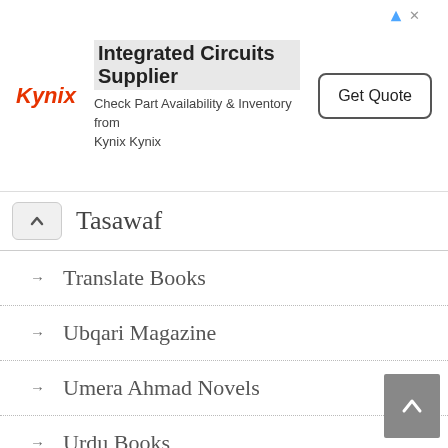[Figure (other): Kynix advertisement banner with logo, 'Integrated Circuits Supplier' heading, 'Check Part Availability & Inventory from Kynix Kynix' subtext, and 'Get Quote' button]
Tasawaf
Translate Books
Ubqari Magazine
Umera Ahmad Novels
Urdu Books
Urdu Computer Books
Urdu Digests and Magazines
Urdu Novels Pdf